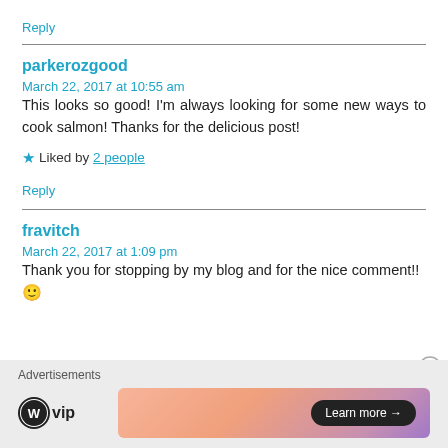Reply
parkerozgood
March 22, 2017 at 10:55 am
This looks so good! I'm always looking for some new ways to cook salmon! Thanks for the delicious post!
★ Liked by 2 people
Reply
fravitch
March 22, 2017 at 1:09 pm
Thank you for stopping by my blog and for the nice comment!! 🙂
Advertisements